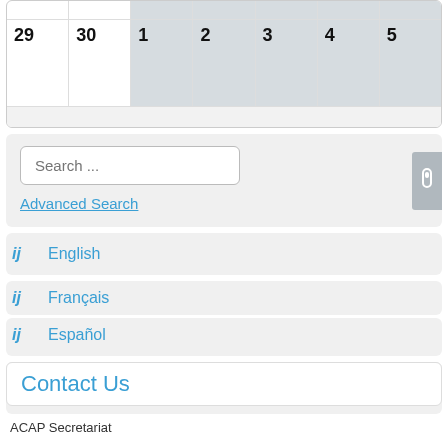|  |  |
| --- | --- |
| 29 | 30 |
| 1 | 2 | 3 | 4 | 5 |
Search ...
Advanced Search
ij  English
ij  Français
ij  Español
Contact Us
ACAP Secretariat